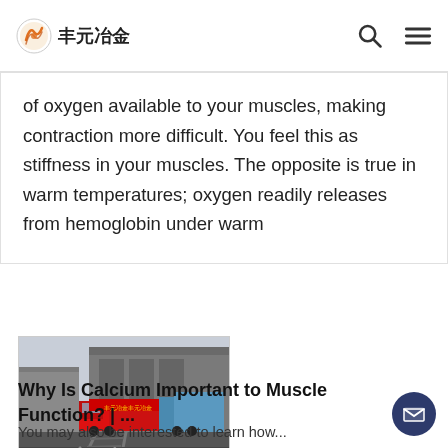丰元冶金
of oxygen available to your muscles, making contraction more difficult. You feel this as stiffness in your muscles. The opposite is true in warm temperatures; oxygen readily releases from hemoglobin under warm
[Figure (photo): Industrial facility with a red truck and blue-covered cargo, large grey warehouse building in background, railway tracks in foreground]
Why Is Calcium Important to Muscle Function? | ...
You may also be interested to learn how...